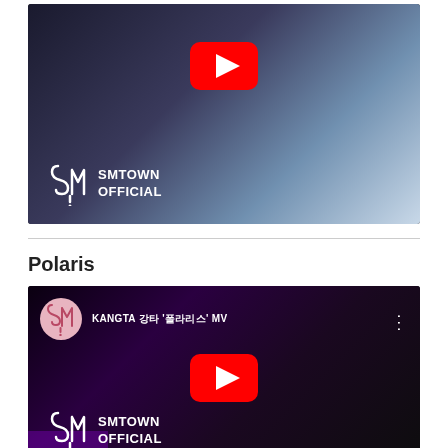[Figure (screenshot): YouTube video thumbnail showing SMTOWN Official channel - a person in white flowing fabric against dark background, with YouTube play button overlay and SMTOWN OFFICIAL logo in bottom left]
Polaris
[Figure (screenshot): YouTube video thumbnail showing KANGTA MV - dark scene with person lying down, pink/purple tones, channel icon showing SMTOWN logo, video title 'KANGTA 강타 "폴라리스" MV', YouTube play button in center, SMTOWN OFFICIAL logo in bottom left, three-dot menu on right]